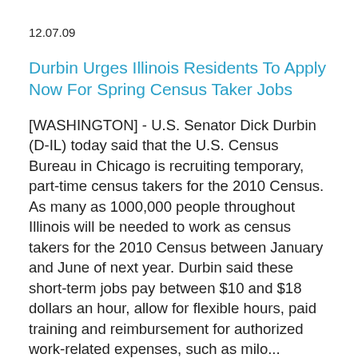12.07.09
Durbin Urges Illinois Residents To Apply Now For Spring Census Taker Jobs
[WASHINGTON] - U.S. Senator Dick Durbin (D-IL) today said that the U.S. Census Bureau in Chicago is recruiting temporary, part-time census takers for the 2010 Census. As many as 1000,000 people throughout Illinois will be needed to work as census takers for the 2010 Census between January and June of next year. Durbin said these short-term jobs pay between $10 and $18 dollars an hour, allow for flexible hours, paid training and reimbursement for authorized work-related expenses, such as milo... Continue Reading